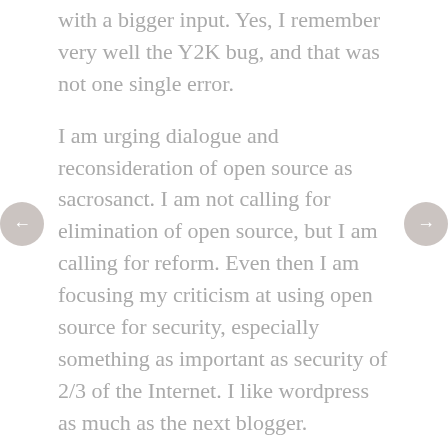with a bigger input. Yes, I remember very well the Y2K bug, and that was not one single error.
I am urging dialogue and reconsideration of open source as sacrosanct. I am not calling for elimination of open source, but I am calling for reform. Even then I am focusing my criticism at using open source for security, especially something as important as security of 2/3 of the Internet. I like wordpress as much as the next blogger.
Do you really believe that two people reviewing the code add-on is what was intended by crowd sourcing, which is the theory behind open source? That fact that in theory others “could” have looked at it, does not matter much. Potential and theory is trumped by hard realities. Two is never a crowd. Think of the harm done already. How many million people have wasted an hour or more changing passwords? What about the time and expense for businesses to fix this and keep people safe and the